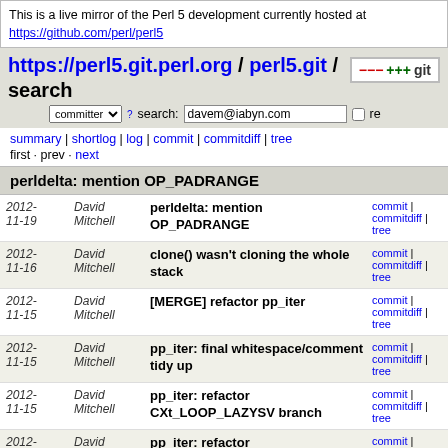This is a live mirror of the Perl 5 development currently hosted at https://github.com/perl/perl5
https://perl5.git.perl.org / perl5.git / search
committer search: davem@iabyn.com re
summary | shortlog | log | commit | commitdiff | tree
first · prev · next
perldelta: mention OP_PADRANGE
| Date | Author | Description | Links |
| --- | --- | --- | --- |
| 2012-11-19 | David Mitchell | perldelta: mention OP_PADRANGE | commit | commitdiff | tree |
| 2012-11-16 | David Mitchell | clone() wasn't cloning the whole stack | commit | commitdiff | tree |
| 2012-11-15 | David Mitchell | [MERGE] refactor pp_iter | commit | commitdiff | tree |
| 2012-11-15 | David Mitchell | pp_iter: final whitespace/comment tidy up | commit | commitdiff | tree |
| 2012-11-15 | David Mitchell | pp_iter: refactor CXt_LOOP_LAZYSV branch | commit | commitdiff | tree |
| 2012-11-15 | David Mitchell | pp_iter: refactor CXt_LOOP_LAZYIV branch | commit | commitdiff | tree |
| 2012-11-15 | David Mitchell | pp_iter: a bit more refactoring of CXt_LOOP_FOR branch | commit | commitdiff | tree |
| 2012-11-15 | David Mitchell | pp_iter: factor out some common code in CXt_LOOP_FOR | commit | commitdiff | tree |